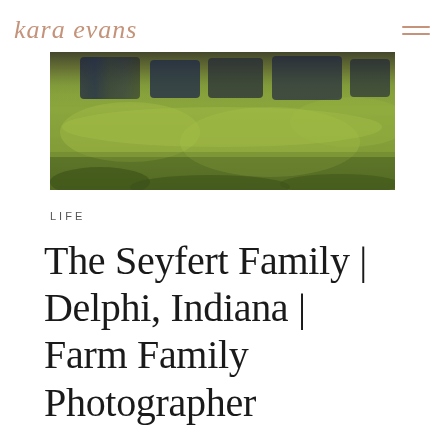kara evans
[Figure (photo): Outdoor family photo session on a farm, showing people on green grass field, close-up ground-level perspective with blurred background]
LIFE
The Seyfert Family | Delphi, Indiana | Farm Family Photographer